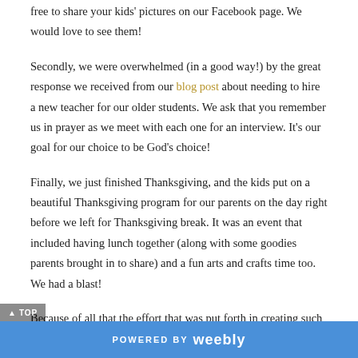free to share your kids' pictures on our Facebook page. We would love to see them!
Secondly, we were overwhelmed (in a good way!) by the great response we received from our blog post about needing to hire a new teacher for our older students. We ask that you remember us in prayer as we meet with each one for an interview. It's our goal for our choice to be God's choice!
Finally, we just finished Thanksgiving, and the kids put on a beautiful Thanksgiving program for our parents on the day right before we left for Thanksgiving break. It was an event that included having lunch together (along with some goodies parents brought in to share) and a fun arts and crafts time too. We had a blast!
Because of all that the effort that was put forth in creating such a great Thanksgiving program, we decided to cancel our Christmas program, which originally scheduled to take place on December 7. Rumor has it that Mrs.
POWERED BY weebly